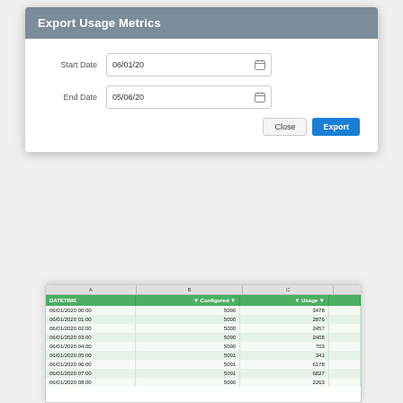Export Usage Metrics
Start Date: 06/01/20
End Date: 05/06/20
[Figure (screenshot): Export Usage Metrics modal dialog with Start Date field showing 06/01/20, End Date field showing 05/06/20, and Close and Export buttons.]
[Figure (screenshot): Spreadsheet export result showing columns DATETIME, Configured, Usage with rows of data including dates 06/01/2020 00:00 through 06/01/2020 08:00, Configured values of 5000 and 5001, and Usage values of 3478, 2876, 2457, 2408, 703, 341, 6178, 6827, 2263.]
| DATETIME | Configured | Usage |
| --- | --- | --- |
| 06/01/2020 00:00 | 5000 | 3478 |
| 06/01/2020 01:00 | 5000 | 2876 |
| 06/01/2020 02:00 | 5000 | 2457 |
| 06/01/2020 03:00 | 5000 | 2408 |
| 06/01/2020 04:00 | 5000 | 703 |
| 06/01/2020 05:00 | 5001 | 341 |
| 06/01/2020 06:00 | 5001 | 6178 |
| 06/01/2020 07:00 | 5001 | 6827 |
| 06/01/2020 08:00 | 5000 | 2263 |